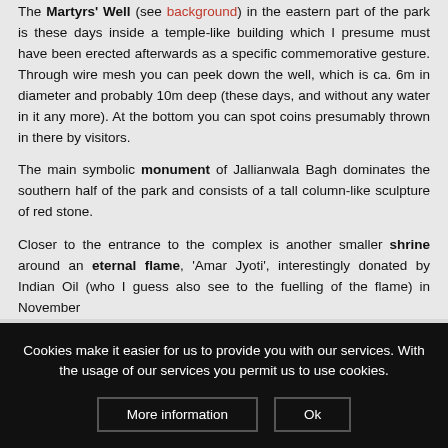The Martyrs' Well (see background) in the eastern part of the park is these days inside a temple-like building which I presume must have been erected afterwards as a specific commemorative gesture. Through wire mesh you can peek down the well, which is ca. 6m in diameter and probably 10m deep (these days, and without any water in it any more). At the bottom you can spot coins presumably thrown in there by visitors.
The main symbolic monument of Jallianwala Bagh dominates the southern half of the park and consists of a tall column-like sculpture of red stone.
Closer to the entrance to the complex is another smaller shrine around an eternal flame, 'Amar Jyoti', interestingly donated by Indian Oil (who I guess also see to the fuelling of the flame) in November
Cookies make it easier for us to provide you with our services. With the usage of our services you permit us to use cookies.